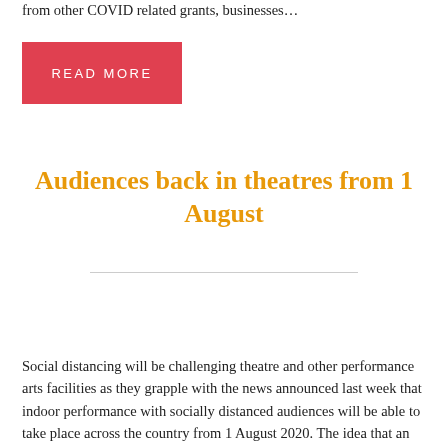from other COVID related grants, businesses…
READ MORE
Audiences back in theatres from 1 August
Social distancing will be challenging theatre and other performance arts facilities as they grapple with the news announced last week that indoor performance with socially distanced audiences will be able to take place across the country from 1 August 2020. The idea that an